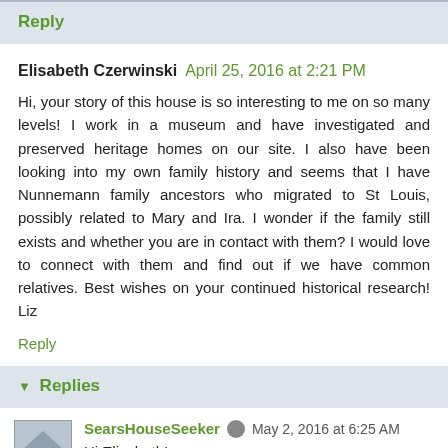Reply
Elisabeth Czerwinski April 25, 2016 at 2:21 PM
Hi, your story of this house is so interesting to me on so many levels! I work in a museum and have investigated and preserved heritage homes on our site. I also have been looking into my own family history and seems that I have Nunnemann family ancestors who migrated to St Louis, possibly related to Mary and Ira. I wonder if the family still exists and whether you are in contact with them? I would love to connect with them and find out if we have common relatives. Best wishes on your continued historical research! Liz
Reply
Replies
SearsHouseSeeker May 2, 2016 at 6:25 AM
Hi Elisabeth!